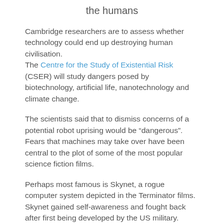the humans
Cambridge researchers are to assess whether technology could end up destroying human civilisation.
The Centre for the Study of Existential Risk (CSER) will study dangers posed by biotechnology, artificial life, nanotechnology and climate change.
The scientists said that to dismiss concerns of a potential robot uprising would be "dangerous". Fears that machines may take over have been central to the plot of some of the most popular science fiction films.
Perhaps most famous is Skynet, a rogue computer system depicted in the Terminator films.
Skynet gained self-awareness and fought back after first being developed by the US military.
'Reasonable prediction'